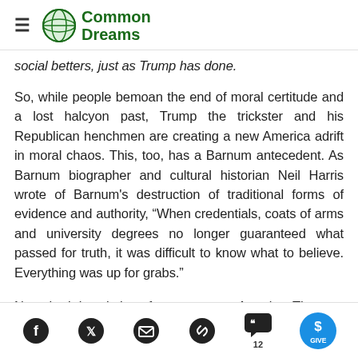Common Dreams
social betters, just as Trump has done.
So, while people bemoan the end of moral certitude and a lost halcyon past, Trump the trickster and his Republican henchmen are creating a new America adrift in moral chaos. This, too, has a Barnum antecedent. As Barnum biographer and cultural historian Neil Harris wrote of Barnum's destruction of traditional forms of evidence and authority, “When credentials, coats of arms and university degrees no longer guaranteed what passed for truth, it was difficult to know what to believe. Everything was up for grabs.”
Not a bad description of contemporary America. The
Social share icons: Facebook, Twitter, Email, Link, Comments (12), Give